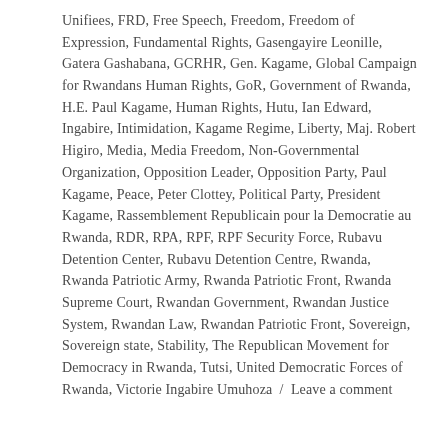Unifiees, FRD, Free Speech, Freedom, Freedom of Expression, Fundamental Rights, Gasengayire Leonille, Gatera Gashabana, GCRHR, Gen. Kagame, Global Campaign for Rwandans Human Rights, GoR, Government of Rwanda, H.E. Paul Kagame, Human Rights, Hutu, Ian Edward, Ingabire, Intimidation, Kagame Regime, Liberty, Maj. Robert Higiro, Media, Media Freedom, Non-Governmental Organization, Opposition Leader, Opposition Party, Paul Kagame, Peace, Peter Clottey, Political Party, President Kagame, Rassemblement Republicain pour la Democratie au Rwanda, RDR, RPA, RPF, RPF Security Force, Rubavu Detention Center, Rubavu Detention Centre, Rwanda, Rwanda Patriotic Army, Rwanda Patriotic Front, Rwanda Supreme Court, Rwandan Government, Rwandan Justice System, Rwandan Law, Rwandan Patriotic Front, Sovereign, Sovereign state, Stability, The Republican Movement for Democracy in Rwanda, Tutsi, United Democratic Forces of Rwanda, Victorie Ingabire Umuhoza / Leave a comment